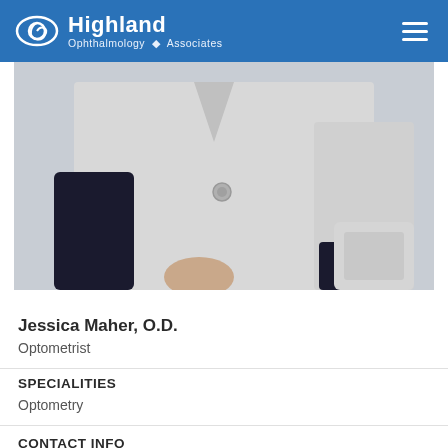Highland Ophthalmology Associates
[Figure (photo): Close-up photo of a person wearing a white medical coat with dark sleeves, seated near medical equipment]
Jessica Maher, O.D.
Optometrist
SPECIALITIES
Optometry
CONTACT INFO